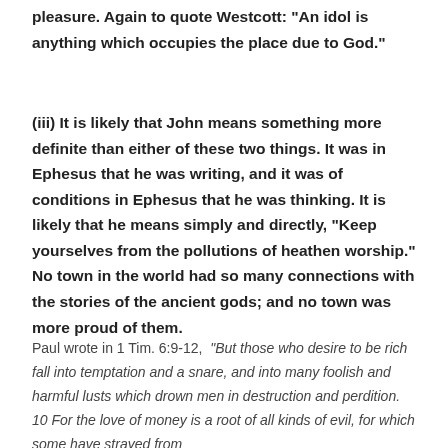pleasure. Again to quote Westcott: "An idol is anything which occupies the place due to God."
(iii) It is likely that John means something more definite than either of these two things. It was in Ephesus that he was writing, and it was of conditions in Ephesus that he was thinking. It is likely that he means simply and directly, "Keep yourselves from the pollutions of heathen worship." No town in the world had so many connections with the stories of the ancient gods; and no town was more proud of them.
Paul wrote in 1 Tim. 6:9-12,  "But those who desire to be rich fall into temptation and a snare, and into many foolish and harmful lusts which drown men in destruction and perdition. 10 For the love of money is a root of all kinds of evil, for which some have strayed from